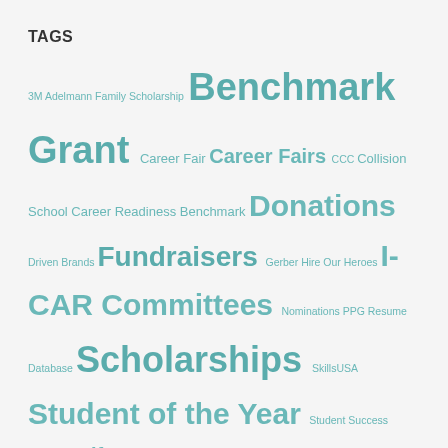TAGS
3M Adelmann Family Scholarship Benchmark Grant Career Fair Career Fairs CCC Collision School Career Readiness Benchmark Donations Driven Brands Fundraisers Gerber Hire Our Heroes I-CAR Committees Nominations PPG Resume Database Scholarships SkillsUSA Student of the Year Student Success TopGolf Top Tech Competition Vehicle Donation
LATEST POSTS
CREF Invites Collision Industry to Fall 2022 High School & College Transportation Student Career Fairs August 11,